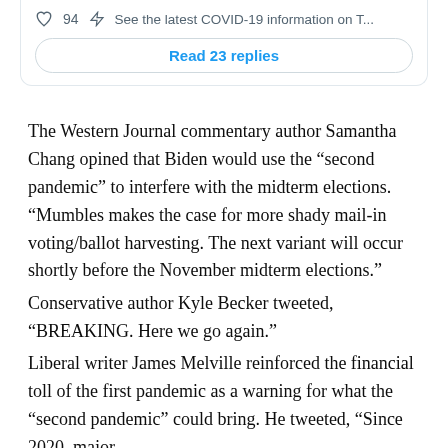[Figure (screenshot): Twitter/social media card snippet showing 94 likes icon, 'See the latest COVID-19 information on T...' link, and a 'Read 23 replies' button]
The Western Journal commentary author Samantha Chang opined that Biden would use the “second pandemic” to interfere with the midterm elections. “Mumbles makes the case for more shady mail-in voting/ballot harvesting. The next variant will occur shortly before the November midterm elections.”
Conservative author Kyle Becker tweeted, “BREAKING. Here we go again.”
Liberal writer James Melville reinforced the financial toll of the first pandemic as a warning for what the “second pandemic” could bring. He tweeted, “Since 2020, major